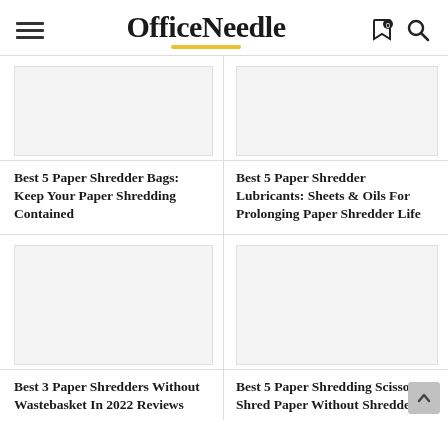OfficeNeedle
Best 5 Paper Shredder Bags: Keep Your Paper Shredding Contained
Best 5 Paper Shredder Lubricants: Sheets & Oils For Prolonging Paper Shredder Life
[Figure (photo): Image placeholder for paper shredder bags article]
[Figure (photo): Image placeholder for paper shredder lubricants article]
[Figure (photo): Image placeholder for paper shredders without wastebasket article]
[Figure (photo): Image placeholder for paper shredding scissors article]
Best 3 Paper Shredders Without Wastebasket In 2022 Reviews
Best 5 Paper Shredding Scissors: Shred Paper Without Shredders